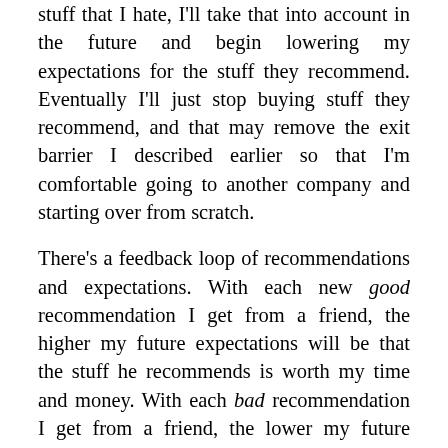stuff that I hate, I'll take that into account in the future and begin lowering my expectations for the stuff they recommend. Eventually I'll just stop buying stuff they recommend, and that may remove the exit barrier I described earlier so that I'm comfortable going to another company and starting over from scratch.
There's a feedback loop of recommendations and expectations. With each new good recommendation I get from a friend, the higher my future expectations will be that the stuff he recommends is worth my time and money. With each bad recommendation I get from a friend, the lower my future expectations will be that the stuff he recommends is worth my time and money. Eventually, I will learn to anticipate exactly how accurate my friends' recommendations will be.
Recommendations and expectations are part of an adaptive framework, wherein each future